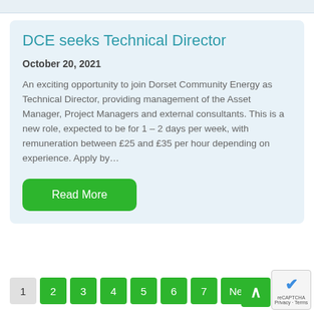DCE seeks Technical Director
October 20, 2021
An exciting opportunity to join Dorset Community Energy as Technical Director, providing management of the Asset Manager, Project Managers and external consultants. This is a new role, expected to be for 1 – 2 days per week, with remuneration between £25 and £35 per hour depending on experience. Apply by...
Read More
1
2
3
4
5
6
7
Next »